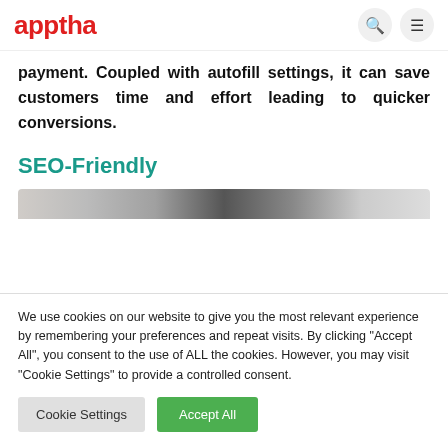apptha
payment. Coupled with autofill settings, it can save customers time and effort leading to quicker conversions.
SEO-Friendly
[Figure (photo): Partial image strip visible below the SEO-Friendly heading]
We use cookies on our website to give you the most relevant experience by remembering your preferences and repeat visits. By clicking "Accept All", you consent to the use of ALL the cookies. However, you may visit "Cookie Settings" to provide a controlled consent.